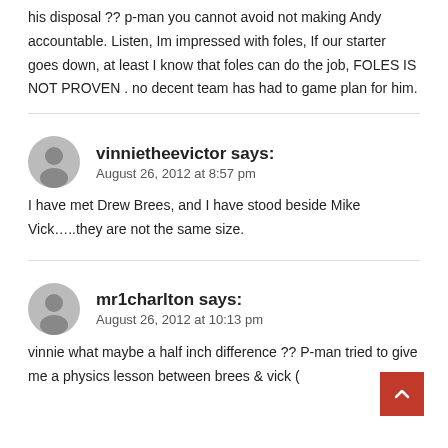his disposal ?? p-man you cannot avoid not making Andy accountable. Listen, Im impressed with foles, If our starter goes down, at least I know that foles can do the job, FOLES IS NOT PROVEN . no decent team has had to game plan for him.
vinnietheevictor says:
August 26, 2012 at 8:57 pm
I have met Drew Brees, and I have stood beside Mike Vick…..they are not the same size.
mr1charlton says:
August 26, 2012 at 10:13 pm
vinnie what maybe a half inch difference ?? P-man tried to give me a physics lesson between brees & vick (